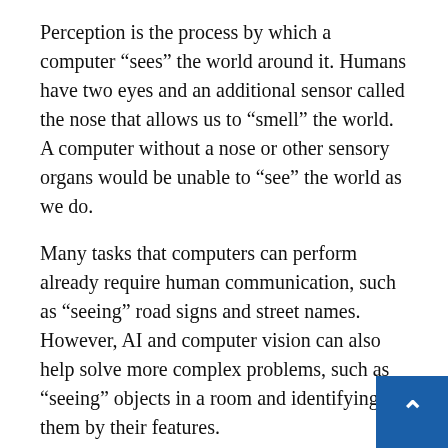Perception is the process by which a computer “sees” the world around it. Humans have two eyes and an additional sensor called the nose that allows us to “smell” the world. A computer without a nose or other sensory organs would be unable to “see” the world as we do.
Many tasks that computers can perform already require human communication, such as “seeing” road signs and street names. However, AI and computer vision can also help solve more complex problems, such as “seeing” objects in a room and identifying them by their features.
Disadvantages of Machine Learning
As our understanding of the world grows ever more complex, it becomes increasingly difficult to know